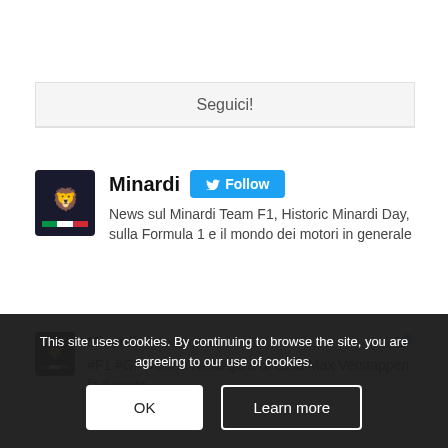Seguici!
[Figure (logo): Minardi team logo - shield shape with yellow lion on dark background with Italian flag stripe]
Minardi   Follow
News sul Minardi Team F1, Historic Minardi Day, sulla Formula 1 e il mondo dei motori in generale
[Figure (logo): Minardi team logo small]
Minardi @minardiofficial · 2h
#F1 #GPOlanda Nella gara di casa Max Verstappen fa il vuoto
https://... /ultimo-di-gian-carlo-m...
This site uses cookies. By continuing to browse the site, you are agreeing to our use of cookies.
OK    Learn more